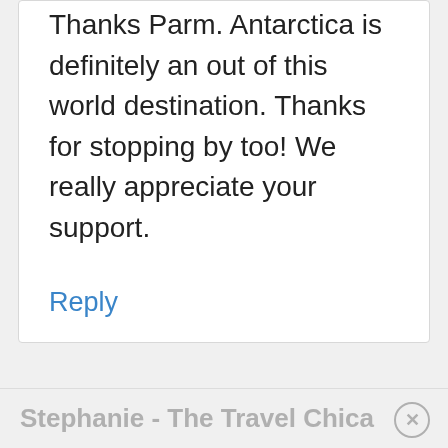Thanks Parm. Antarctica is definitely an out of this world destination. Thanks for stopping by too! We really appreciate your support.
Reply
Stephanie - The Travel Chica